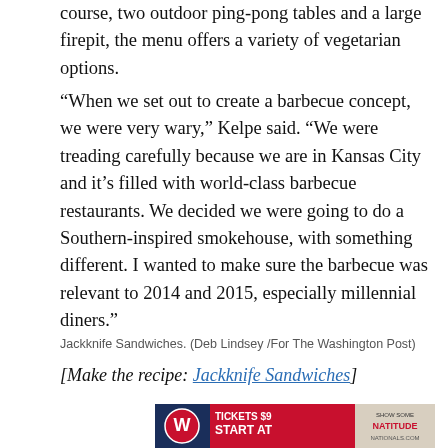course, two outdoor ping-pong tables and a large firepit, the menu offers a variety of vegetarian options.
“When we set out to create a barbecue concept, we were very wary,” Kelpe said. “We were treading carefully because we are in Kansas City and it’s filled with world-class barbecue restaurants. We decided we were going to do a Southern-inspired smokehouse, with something different. I wanted to make sure the barbecue was relevant to 2014 and 2015, especially millennial diners.”
Jackknife Sandwiches. (Deb Lindsey /For The Washington Post)
[Make the recipe: Jackknife Sandwiches]
[Figure (photo): Washington Nationals baseball advertisement: Tickets start at $9, Show Some Natitude, nationals.com]